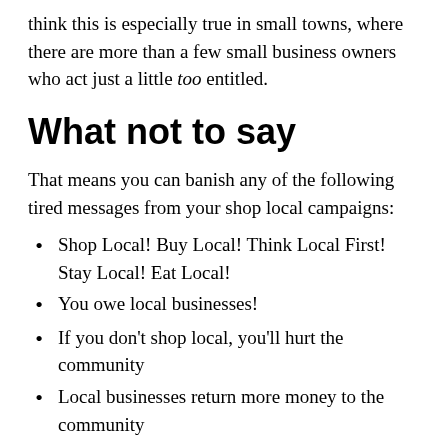think this is especially true in small towns, where there are more than a few small business owners who act just a little too entitled.
What not to say
That means you can banish any of the following tired messages from your shop local campaigns:
Shop Local! Buy Local! Think Local First! Stay Local! Eat Local!
You owe local businesses!
If you don't shop local, you'll hurt the community
Local businesses return more money to the community